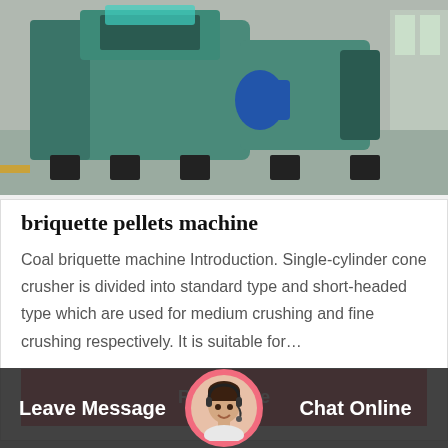[Figure (photo): Industrial briquette pellets machine - large green/teal colored industrial machine on factory floor]
briquette pellets machine
Coal briquette machine Introduction. Single-cylinder cone crusher is divided into standard type and short-headed type which are used for medium crushing and fine crushing respectively. It is suitable for…
Read More
[Figure (photo): Second product card showing partial image at bottom of page]
Leave Message
[Figure (photo): Customer service representative avatar circle]
Chat Online